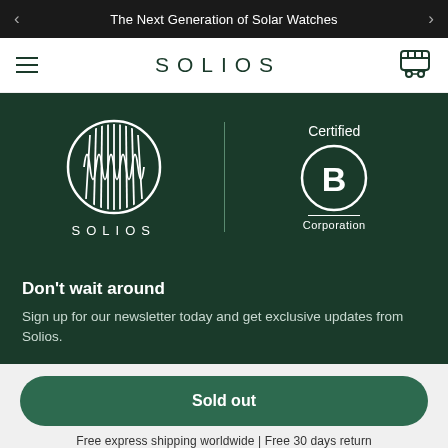The Next Generation of Solar Watches
SOLIOS
[Figure (logo): Solios brand logo (circular wave pattern) and Certified B Corporation logo side by side on dark green background]
Don't wait around
Sign up for our newsletter today and get exclusive updates from Solios.
Sold out
Free express shipping worldwide | Free 30 days return